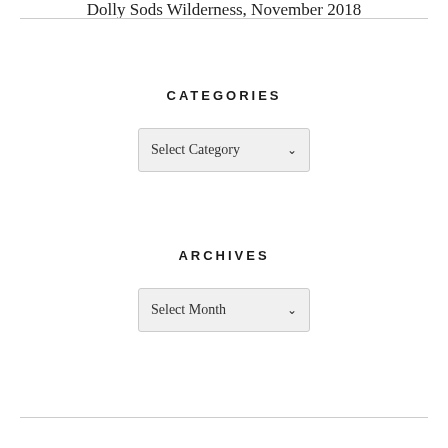Dolly Sods Wilderness, November 2018
CATEGORIES
[Figure (screenshot): A dropdown selector UI element with label 'Select Category' and a down arrow chevron, styled with a light grey background and rounded border.]
ARCHIVES
[Figure (screenshot): A dropdown selector UI element with label 'Select Month' and a down arrow chevron, styled with a light grey background and rounded border.]